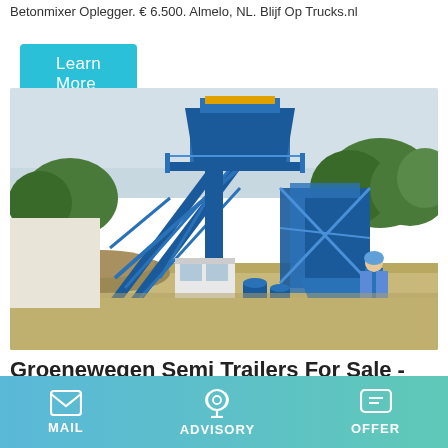Betonmixer Oplegger. € 6.500. Almelo, NL. Blijf Op Trucks.nl
Learn More
[Figure (photo): A large blue mobile concrete batching plant / mixing station on a paved yard. The structure has a hopper at the top, conveyor belt, steel frame, and a small white control cabin at the base. Blue barrels and aggregate piles are visible. A person in a blue shirt stands to the right. Trees are in the background.]
Groenewegen Semi Trailers For Sale - Used And New - TrucksNL
MAIL   ADVISORY   OFFER